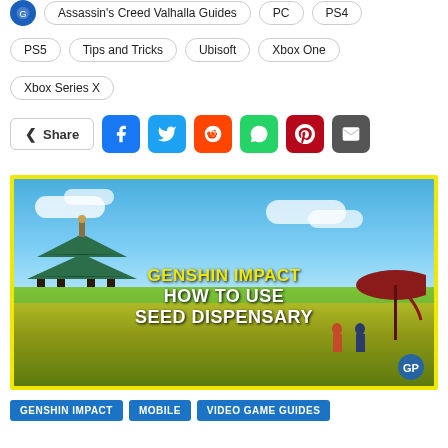Assassin's Creed Valhalla Guides  PC  PS4
PS5  Tips and Tricks  Ubisoft  Xbox One
Xbox Series X
Share (social buttons: Facebook, Twitter, Reddit, WhatsApp, Pinterest, Email)
[Figure (screenshot): Genshin Impact game screenshot showing a pagoda-style building in a yellow flower field with blue sky. Overlay text reads: GENSHIN IMPACT HOW TO USE SEED DISPENSARY]
GENSHIN IMPACT  MOBILE  VIDEO GAME GUIDES